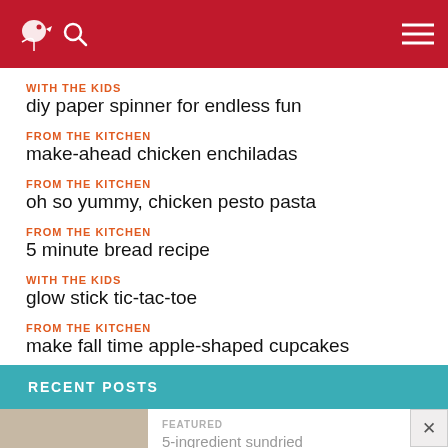Navigation header with bird logo, search icon, and menu icon
WITH THE KIDS
diy paper spinner for endless fun
FROM THE KITCHEN
make-ahead chicken enchiladas
FROM THE KITCHEN
oh so yummy, chicken pesto pasta
FROM THE KITCHEN
5 minute bread recipe
WITH THE KIDS
glow stick tic-tac-toe
FROM THE KITCHEN
make fall time apple-shaped cupcakes
RECENT POSTS
FEATURED
5-ingredient sundried